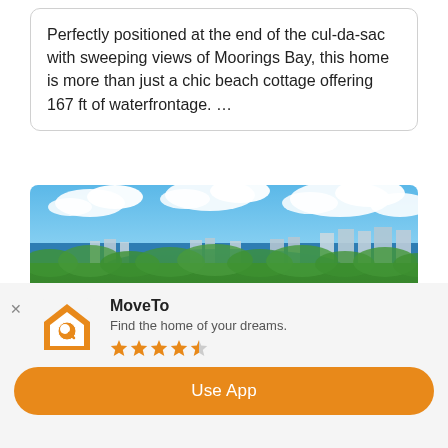Perfectly positioned at the end of the cul-da-sac with sweeping views of Moorings Bay, this home is more than just a chic beach cottage offering 167 ft of waterfrontage. ...
[Figure (photo): Aerial photograph of a coastal city neighborhood with lush green trees, residential homes, waterway with boats, high-rise buildings near the water, and blue sky with clouds in the background.]
MoveTo
Find the home of your dreams.
★★★★☆
Use App